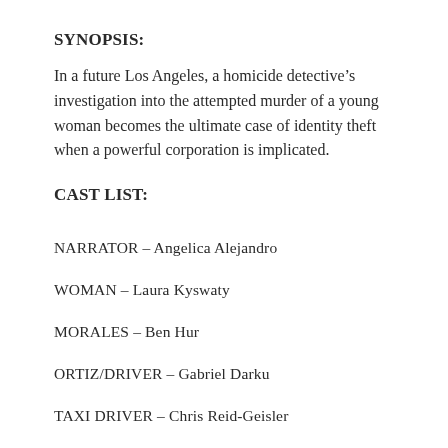SYNOPSIS:
In a future Los Angeles, a homicide detective's investigation into the attempted murder of a young woman becomes the ultimate case of identity theft when a powerful corporation is implicated.
CAST LIST:
NARRATOR – Angelica Alejandro
WOMAN – Laura Kyswaty
MORALES – Ben Hur
ORTIZ/DRIVER – Gabriel Darku
TAXI DRIVER – Chris Reid-Geisler
EVERS – Holly Sarchfield